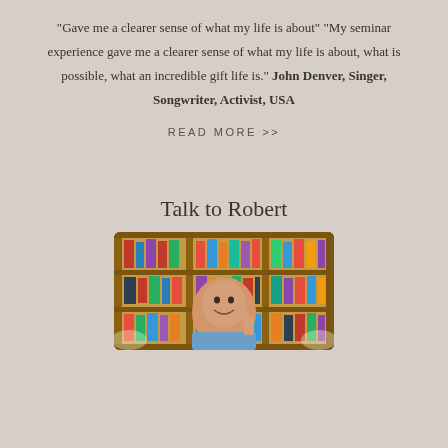"Gave me a clearer sense of what my life is about" "My seminar experience gave me a clearer sense of what my life is about, what is possible, what an incredible gift life is." John Denver, Singer, Songwriter, Activist, USA
READ MORE >>
Talk to Robert
[Figure (photo): A smiling middle-aged man seated at a desk in front of a wooden bookshelf filled with books, giving a thumbs up gesture, wearing a blue shirt.]